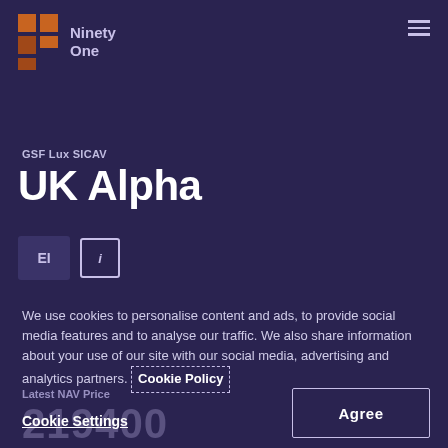[Figure (logo): Ninety One logo with orange/brown geometric squares icon and 'Ninety One' text]
GSF Lux SICAV
UK Alpha
[Figure (other): Two badge icons: one showing 'EI' text in a dark box, one showing info 'i' symbol in a bordered box]
We use cookies to personalise content and ads, to provide social media features and to analyse our traffic. We also share information about your use of our site with our social media, advertising and analytics partners. Cookie Policy
Latest NAV Price
Cookie Settings
219400
Agree